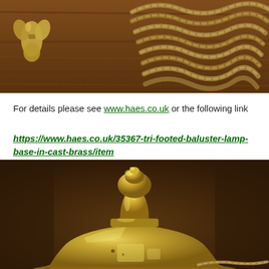[Figure (photo): Close-up photo of brass lamp components and twisted rope/cord on a dark wooden surface. A decorative brass piece is visible on the left and coiled braided rope on the right.]
For details please see www.haes.co.uk or the following link
https://www.haes.co.uk/35367-tri-footed-baluster-lamp-base-in-cast-brass/item
[Figure (photo): Close-up photo of a brass tri-footed baluster lamp base top section showing the finial/top knob and upper bell-shaped body, with braided cord visible, against a dark wood background.]